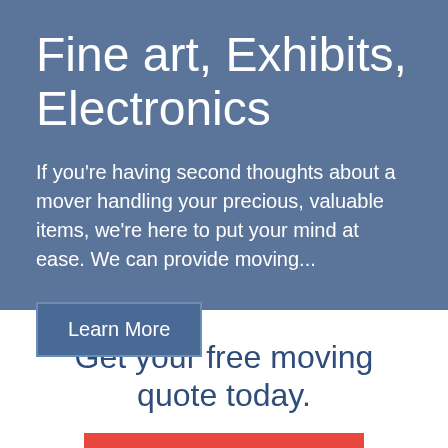Fine art, Exhibits, Electronics
If you're having second thoughts about a mover handling your precious, valuable items, we're here to put your mind at ease. We can provide moving...
Learn More
Get your free moving quote today.